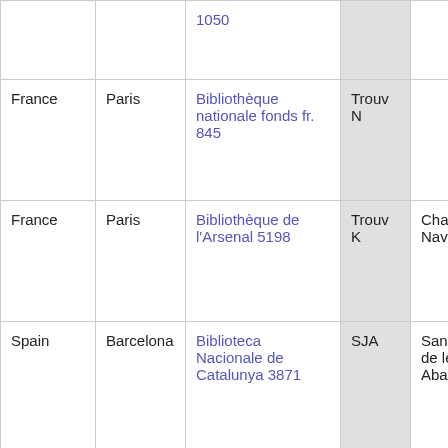| Country | City | Library | Siglum | Title |
| --- | --- | --- | --- | --- |
|  |  | 1050 |  |  |
| France | Paris | Bibliothèque nationale fonds fr. 845 | Trouv N |  |
| France | Paris | Bibliothèque de l'Arsenal 5198 | Trouv K | Chanso de Nava |
| Spain | Barcelona | Biblioteca Nacionale de Catalunya 3871 | SJA | Sant Joa de les Abades |
| France | Paris | Bibliothèque | R | Chanso |